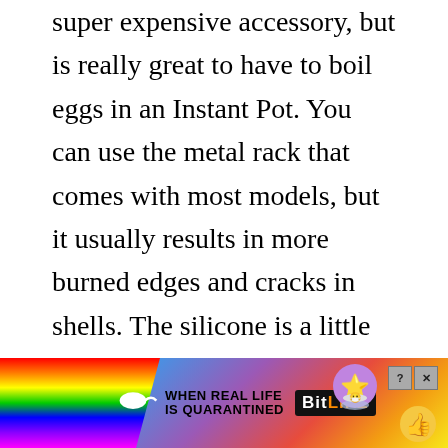super expensive accessory, but is really great to have to boil eggs in an Instant Pot. You can use the metal rack that comes with most models, but it usually results in more burned edges and cracks in shells. The silicone is a little softer on the shells and allow better distribution of heat. (This is a similar model, for some reason I can't find the exact one I have; but this is almost identical.) If you have a silicone steamer basket, that works as well!
[Figure (other): Advertisement banner: colorful rainbow background with 'WHEN REAL LIFE IS QUARANTINED' text, BitLife logo, star emoji character with face mask, thumbs up emoji. Close and help buttons in top right corner.]